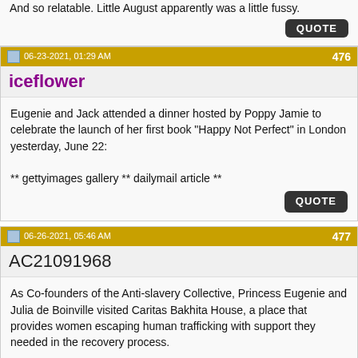And so relatable. Little August apparently was a little fussy.
QUOTE
06-23-2021, 01:29 AM   476
iceflower
Eugenie and Jack attended a dinner hosted by Poppy Jamie to celebrate the launch of her first book "Happy Not Perfect" in London yesterday, June 22:

** gettyimages gallery ** dailymail article **
QUOTE
06-26-2021, 05:46 AM   477
AC21091968
As Co-founders of the Anti-slavery Collective, Princess Eugenie and Julia de Boinville visited Caritas Bakhita House, a place that provides women escaping human trafficking with support they needed in the recovery process.